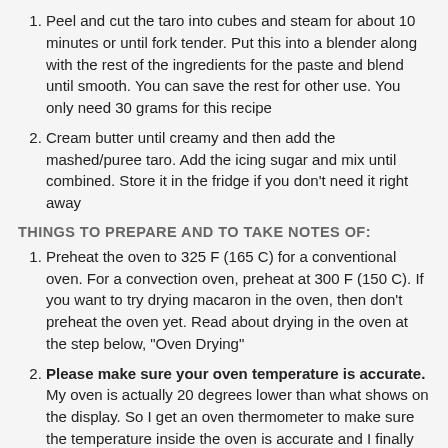Peel and cut the taro into cubes and steam for about 10 minutes or until fork tender. Put this into a blender along with the rest of the ingredients for the paste and blend until smooth. You can save the rest for other use. You only need 30 grams for this recipe
Cream butter until creamy and then add the mashed/puree taro. Add the icing sugar and mix until combined. Store it in the fridge if you don't need it right away
THINGS TO PREPARE AND TO TAKE NOTES OF:
Preheat the oven to 325 F (165 C) for a conventional oven. For a convection oven, preheat at 300 F (150 C). If you want to try drying macaron in the oven, then don't preheat the oven yet. Read about drying in the oven at the step below, "Oven Drying"
Please make sure your oven temperature is accurate. My oven is actually 20 degrees lower than what shows on the display. So I get an oven thermometer to make sure the temperature inside the oven is accurate and I finally get good macarons without overbaking or underbaking
Some people will age the egg whites in the fridge for 2-3 days